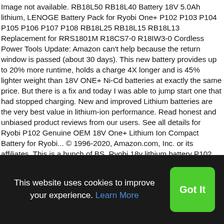Image not available. RB18L50 RB18L40 Battery 18V 5.0Ah lithium, LENOGE Battery Pack for Ryobi One+ P102 P103 P104 P105 P106 P107 P108 RB18L25 RB18L15 RB18L13 Replacement for RRS1801M R18CS7-0 R18IW3-0 Cordless Power Tools Update: Amazon can't help because the return window is passed (about 30 days). This new battery provides up to 20% more runtime, holds a charge 4X longer and is 45% lighter weight than 18V ONE+ Ni-Cd batteries at exactly the same price. But there is a fix and today I was able to jump start one that had stopped charging. New and improved Lithium batteries are the very best value in lithium-ion performance. Read honest and unbiased product reviews from our users. See all details for Ryobi P102 Genuine OEM 18V One+ Lithium Ion Compact Battery for Ryobi... © 1996-2020, Amazon.com, Inc. or its affiliates. This is a bunch of BS. Ryobi 18v lithium battery P102. This wasn't worth all the hassle and
This website uses cookies to improve your experience. Learn More
Got It